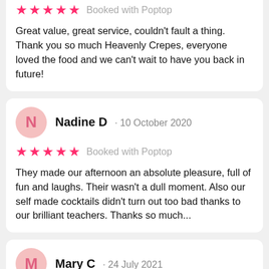Great value, great service, couldn't fault a thing. Thank you so much Heavenly Crepes, everyone loved the food and we can't wait to have you back in future!
Nadine D · 10 October 2020
Booked with Poptop
They made our afternoon an absolute pleasure, full of fun and laughs. Their wasn't a dull moment. Also our self made cocktails didn't turn out too bad thanks to our brilliant teachers. Thanks so much...
Mary C · 24 July 2021
Booked with Poptop